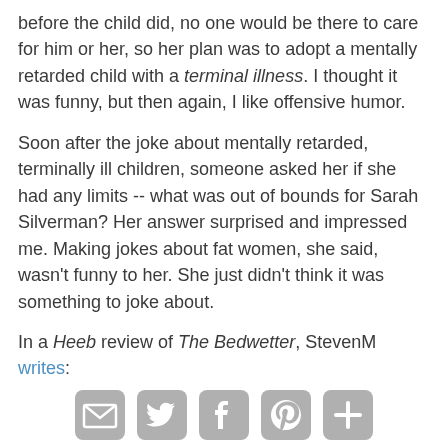before the child did, no one would be there to care for him or her, so her plan was to adopt a mentally retarded child with a terminal illness. I thought it was funny, but then again, I like offensive humor.
Soon after the joke about mentally retarded, terminally ill children, someone asked her if she had any limits -- what was out of bounds for Sarah Silverman? Her answer surprised and impressed me. Making jokes about fat women, she said, wasn't funny to her. She just didn't think it was something to joke about.
In a Heeb review of The Bedwetter, StevenM writes:
[Figure (other): Social sharing icons: email, Twitter, Facebook, Pinterest, and a plus/more button, displayed as rounded square gray icons.]